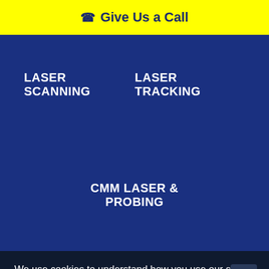Give Us a Call
LASER SCANNING
LASER TRACKING
CMM LASER & PROBING
We use cookies to understand how you use our site and to improve your experience. By clicking to use our site, you accept our use of cookies. I accept